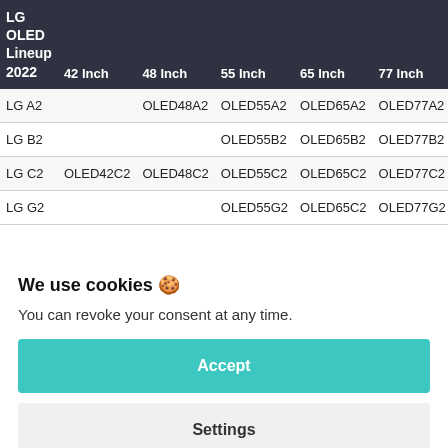| LG OLED Lineup 2022 | 42 Inch | 48 Inch | 55 Inch | 65 Inch | 77 Inch |
| --- | --- | --- | --- | --- | --- |
| LG A2 |  | OLED48A2 | OLED55A2 | OLED65A2 | OLED77A2 |
| LG B2 |  |  | OLED55B2 | OLED65B2 | OLED77B2 |
| LG C2 | OLED42C2 | OLED48C2 | OLED55C2 | OLED65C2 | OLED77C2 |
| LG G2 |  |  | OLED55G2 | OLED65C2 | OLED77G2 |
We use cookies 🍪
You can revoke your consent at any time.
Accept
Settings